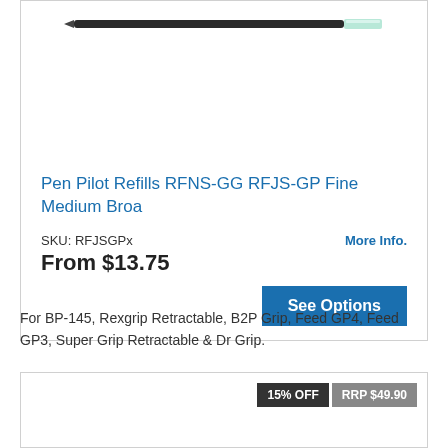[Figure (photo): A pen refill (ink cartridge) shown horizontally — dark body with black tip on left and light-colored cap on right.]
Pen Pilot Refills RFNS-GG RFJS-GP Fine Medium Broa
SKU: RFJSGPx
More Info.
From $13.75
See Options
For BP-145, Rexgrip Retractable, B2P Grip, Feed GP4, Feed GP3, Super Grip Retractable & Dr Grip.
15% OFF
RRP $49.90